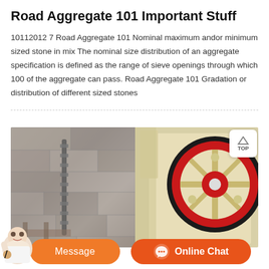Road Aggregate 101 Important Stuff
10112012 7 Road Aggregate 101 Nominal maximum andor minimum sized stone in mix The nominal size distribution of an aggregate specification is defined as the range of sieve openings through which 100 of the aggregate can pass. Road Aggregate 101 Gradation or distribution of different sized stones
[Figure (photo): Left side: stone/rock wall background with a metal rod/tool visible. Right side: yellow/cream jaw crusher machine with a large red flywheel and black tire/belt wheel visible against the stone background.]
Message   Online Chat